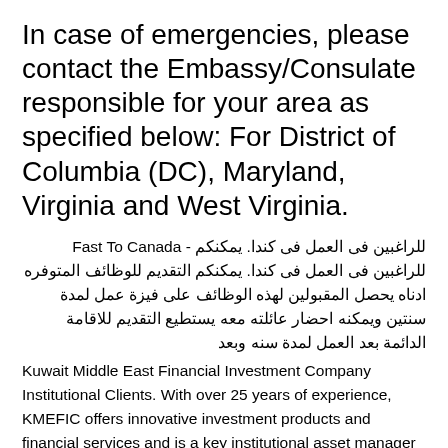In case of emergencies, please contact the Embassy/Consulate responsible for your area as specified below: For District of Columbia (DC), Maryland, Virginia and West Virginia.
للراغبين فى العمل فى كندا. يمكنكم - Fast To Canada للراغبين فى العمل فى كندا. يمكنكم التقديم للوظائف المتوفره ادناه يحصل المقبولين لهذه الوظائف على فيزة عمل لمدة سنتين ويمكنه احضار عائلته معه يستطيع التقديم للاقامة الدائمة بعد العمل لمدة سنه وبعد
Kuwait Middle East Financial Investment Company Institutional Clients. With over 25 years of experience, KMEFIC offers innovative investment products and financial services and is a key institutional asset manager in Kuwait and the Middle East Shisha Pens, E-Liquids and Vape Accessories | Vype Kuwait